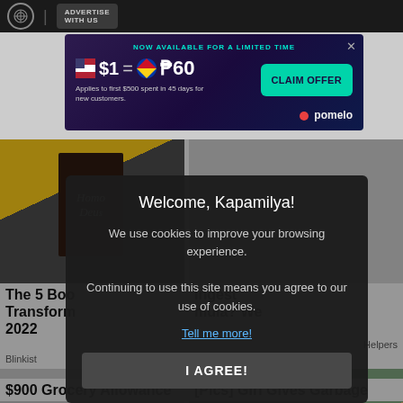ADVERTISE WITH US
[Figure (screenshot): Advertisement banner: NOW AVAILABLE FOR A LIMITED TIME - $1 = P60 - CLAIM OFFER - pomelo]
[Figure (photo): Person holding a book titled 'Homo Deus']
The 5 Boo Transform 2022
Blinkist
Ingest mula? We
Helpers
[Figure (photo): Social Security building exterior]
[Figure (photo): Young girl smiling]
$900 Grocery Allowance
[Pics] Girl Gives Garbage
[Figure (screenshot): Cookie consent modal: Welcome, Kapamilya! We use cookies to improve your browsing experience. Continuing to use this site means you agree to our use of cookies. Tell me more! I AGREE!]